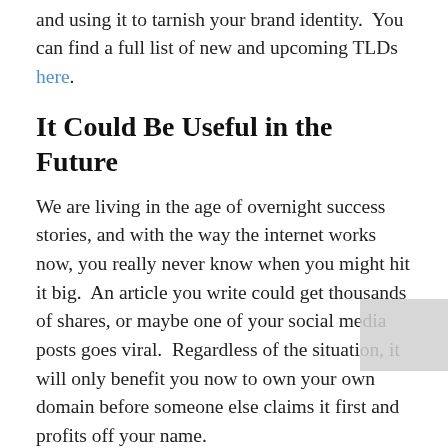and using it to tarnish your brand identity.  You can find a full list of new and upcoming TLDs here.
It Could Be Useful in the Future
We are living in the age of overnight success stories, and with the way the internet works now, you really never know when you might hit it big.  An article you write could get thousands of shares, or maybe one of your social media posts goes viral.  Regardless of the situation, it will only benefit you now to own your own domain before someone else claims it first and profits off your name.
Domain names are the new savings bonds – even if you don't need one now, it would only be advantageous to secure it now in preparation.  I even purchased milesbinder.com and milesashton.net to safeguard these